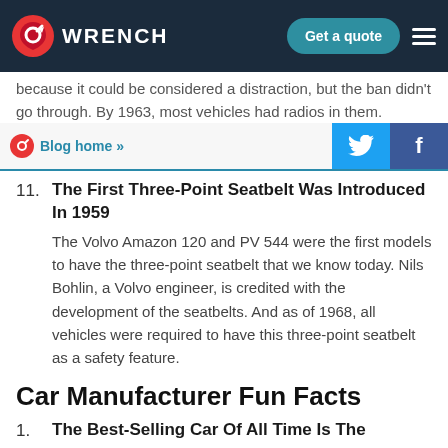WRENCH — Get a quote
because it could be considered a distraction, but the ban didn't go through. By 1963, most vehicles had radios in them.
Blog home »
11. The First Three-Point Seatbelt Was Introduced In 1959
The Volvo Amazon 120 and PV 544 were the first models to have the three-point seatbelt that we know today. Nils Bohlin, a Volvo engineer, is credited with the development of the seatbelts. And as of 1968, all vehicles were required to have this three-point seatbelt as a safety feature.
Car Manufacturer Fun Facts
1. The Best-Selling Car Of All Time Is The